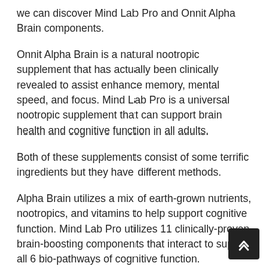we can discover Mind Lab Pro and Onnit Alpha Brain components.
Onnit Alpha Brain is a natural nootropic supplement that has actually been clinically revealed to assist enhance memory, mental speed, and focus. Mind Lab Pro is a universal nootropic supplement that can support brain health and cognitive function in all adults.
Both of these supplements consist of some terrific ingredients but they have different methods.
Alpha Brain utilizes a mix of earth-grown nutrients, nootropics, and vitamins to help support cognitive function. Mind Lab Pro utilizes 11 clinically-proven brain-boosting components that interact to support all 6 bio-pathways of cognitive function.
Onnit Alpha Brain ingredients consist of: